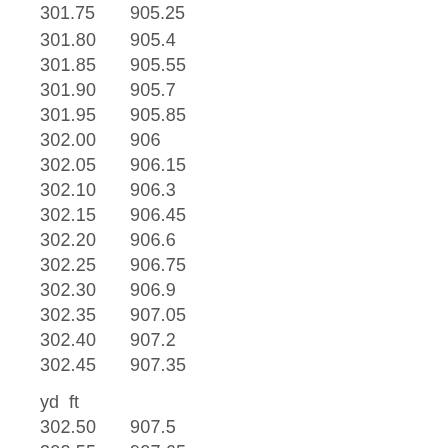| yd | ft |
| --- | --- |
| 301.80 | 905.4 |
| 301.85 | 905.55 |
| 301.90 | 905.7 |
| 301.95 | 905.85 |
| 302.00 | 906 |
| 302.05 | 906.15 |
| 302.10 | 906.3 |
| 302.15 | 906.45 |
| 302.20 | 906.6 |
| 302.25 | 906.75 |
| 302.30 | 906.9 |
| 302.35 | 907.05 |
| 302.40 | 907.2 |
| 302.45 | 907.35 |
yd ft
| yd | ft |
| --- | --- |
| 302.50 | 907.5 |
| 302.55 | 907.65 |
| 302.60 | 907.8 |
| 302.65 | 907.95 |
| 302.70 | 908.1 |
| 302.75 | 908.25 |